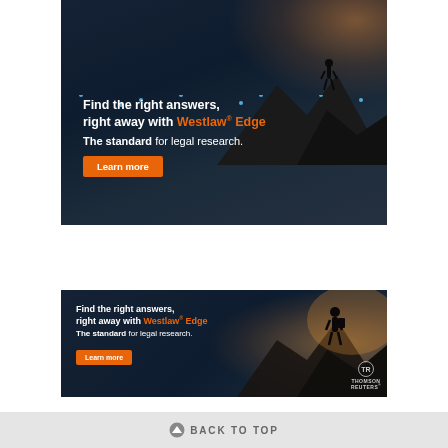[Figure (illustration): Westlaw Edge advertisement banner (large). Dark blue background with glowing data lines and a silhouette of a person standing on a mountain peak at sunset. Text overlay: 'Find the right answers, right away with Westlaw® Edge. The standard for legal research.' with an orange 'Learn more' button.]
[Figure (illustration): Westlaw Edge advertisement banner (small). Dark blue background with a silhouette of a person with backpack standing on a mountain at sunset. Text overlay: 'Find the right answers, right away with Westlaw® Edge. The standard for legal research.' with an orange 'Learn more' button and Thomson Reuters logo.]
↑ BACK TO TOP